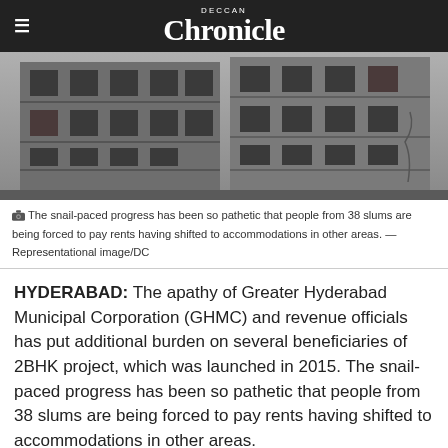DECCAN Chronicle
[Figure (photo): Photograph of a dilapidated multi-storey concrete building under construction or in disrepair, showing exposed slabs and broken windows.]
The snail-paced progress has been so pathetic that people from 38 slums are being forced to pay rents having shifted to accommodations in other areas. — Representational image/DC
HYDERABAD: The apathy of Greater Hyderabad Municipal Corporation (GHMC) and revenue officials has put additional burden on several beneficiaries of 2BHK project, which was launched in 2015. The snail-paced progress has been so pathetic that people from 38 slums are being forced to pay rents having shifted to accommodations in other areas.
Over a span of five years, the corporation has constructed double bedroom houses in only 27...